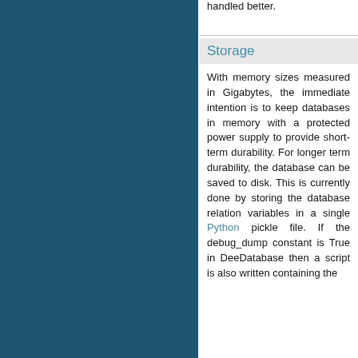handled better.
Storage
With memory sizes measured in Gigabytes, the immediate intention is to keep databases in memory with a protected power supply to provide short-term durability. For longer term durability, the database can be saved to disk. This is currently done by storing the database relation variables in a single Python pickle file. If the debug_dump constant is True in DeeDatabase then a script is also written containing the